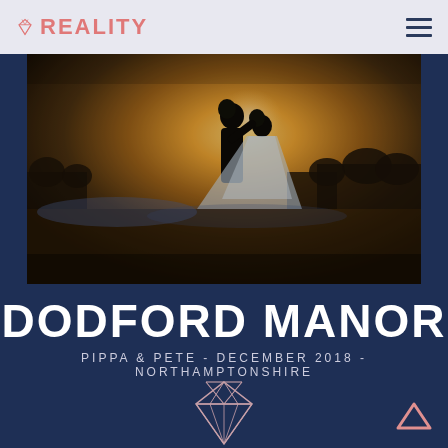REALITY
[Figure (photo): Wedding photo silhouette of a couple in a golden field at sunset — groom bending towards bride in a flowing gown, warm golden backlight, trees in background]
DODFORD MANOR
PIPPA & PETE - DECEMBER 2018 - NORTHAMPTONSHIRE
[Figure (logo): Diamond/gem outline icon in pink/rose gold wireframe style]
[Figure (other): Up arrow chevron in salmon/coral pink color in bottom right corner]